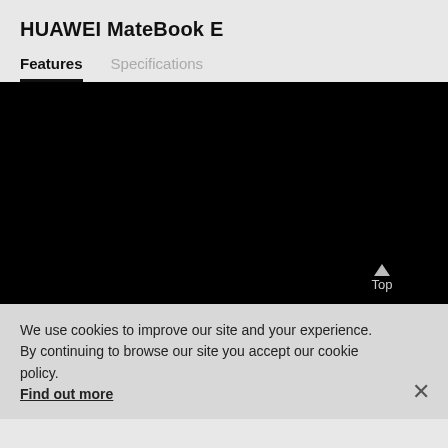HUAWEI MateBook E
Features   Specifications
[Figure (other): Large black rectangular area representing a darkened/video content region with a 'Top' button in the lower right corner]
We use cookies to improve our site and your experience. By continuing to browse our site you accept our cookie policy. Find out more